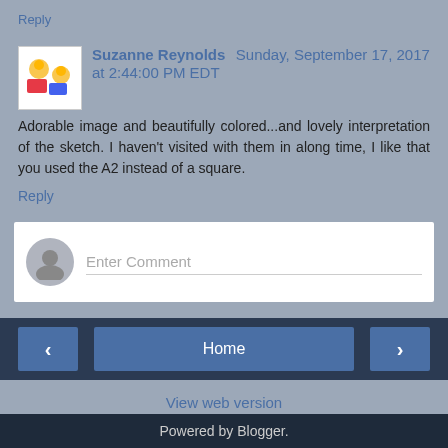Reply
Suzanne Reynolds  Sunday, September 17, 2017 at 2:44:00 PM EDT
Adorable image and beautifully colored...and lovely interpretation of the sketch. I haven't visited with them in along time, I like that you used the A2 instead of a square.
Reply
Enter Comment
Home
View web version
Powered by Blogger.